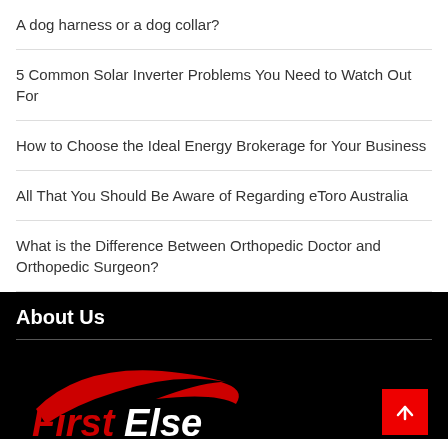A dog harness or a dog collar?
5 Common Solar Inverter Problems You Need to Watch Out For
How to Choose the Ideal Energy Brokerage for Your Business
All That You Should Be Aware of Regarding eToro Australia
What is the Difference Between Orthopedic Doctor and Orthopedic Surgeon?
About Us
[Figure (logo): FirstElse logo — red swoosh arc above red and white stylized text 'FirstElse' on black background]